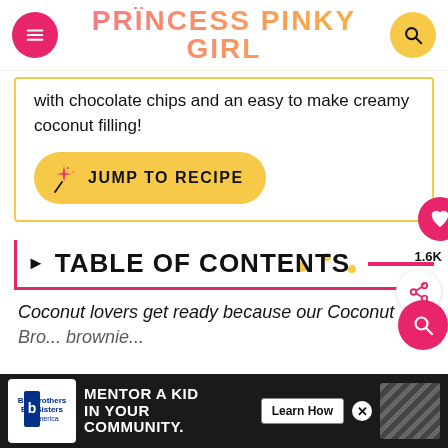PRINCESS PINKY GIRL
with chocolate chips and an easy to make creamy coconut filling!
JUMP TO RECIPE
TABLE OF CONTENTS
Coconut lovers get ready because our Coconut
MENTOR A KID IN YOUR COMMUNITY. Learn How